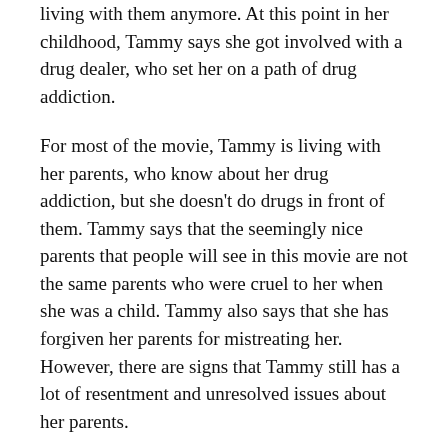living with them anymore. At this point in her childhood, Tammy says she got involved with a drug dealer, who set her on a path of drug addiction.
For most of the movie, Tammy is living with her parents, who know about her drug addiction, but she doesn't do drugs in front of them. Tammy says that the seemingly nice parents that people will see in this movie are not the same parents who were cruel to her when she was a child. Tammy also says that she has forgiven her parents for mistreating her. However, there are signs that Tammy still has a lot of resentment and unresolved issues about her parents.
In a scene where Tammy is at home with her parents, her father (who calls himself a cowboy from Montana) gets emotional when he tells her how fearful he is that Tammy will get killed in her line of work. However, Tammy somewhat rolls her eyes and doesn't seem very moved